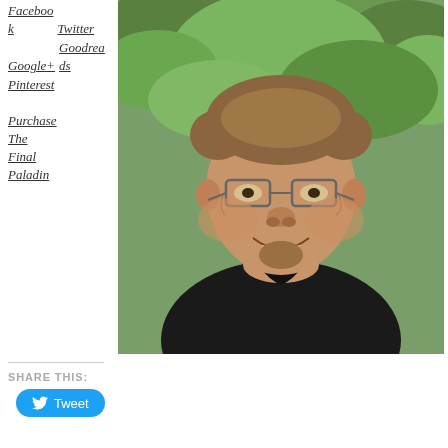Facebook
Twitter
Google+
Goodreads
Pinterest
Purchase The Final Paladin
[Figure (photo): Portrait photo of a smiling man with glasses and a goatee, wearing a black shirt, photographed outdoors with green foliage in the background.]
SHARE THIS:
Tweet